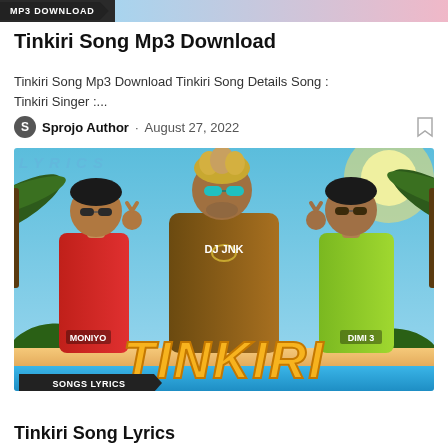MP3 DOWNLOAD
Tinkiri Song Mp3 Download
Tinkiri Song Mp3 Download Tinkiri Song Details Song : Tinkiri Singer :...
Sprojo Author · August 27, 2022
[Figure (photo): Promotional image for 'Tinkiri' song featuring three men in colorful tropical shirts posing with sunglasses on a beach background. Text overlays include 'MONIYO', 'DJ JNK', 'DIMI 3', and large 'TINKIRI' logo at bottom. Badge 'SONGS LYRICS' in bottom left corner.]
Tinkiri Song Lyrics